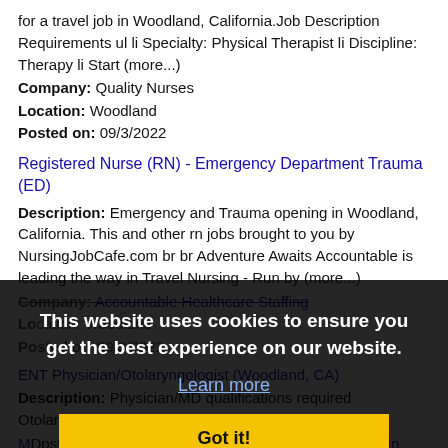for a travel job in Woodland, California. Job Description Requirements ul li Specialty: Physical Therapist li Discipline: Therapy li Start (more...)
Company: Quality Nurses
Location: Woodland
Posted on: 09/3/2022
Registered Nurse (RN) - Emergency Department Trauma (ED)
Description: Emergency and Trauma opening in Woodland, California. This and other rn jobs brought to you by NursingJobCafe.com br br Adventure Awaits Accountable is leading the way in Travel Nursing - Run by (more...)
Company: Accountable Healthcare Staffing
Location: Woodland
Posted on: 09/3/2022
ENT Physician/Otolaryngologist (Woodland, CA)
Description: Physician/MD qualifications required Otolaryngology MDstaffers is seeking a board certified ENT Physician in Woodland, CA. For more information, please apply or call 866-90-STAFF. br br Job Description (more...)
Company: MDstaffers
Location: Woodland
[Figure (screenshot): Cookie consent overlay with text 'This website uses cookies to ensure you get the best experience on our website.' with a 'Learn more' link and a 'Got it!' yellow button]